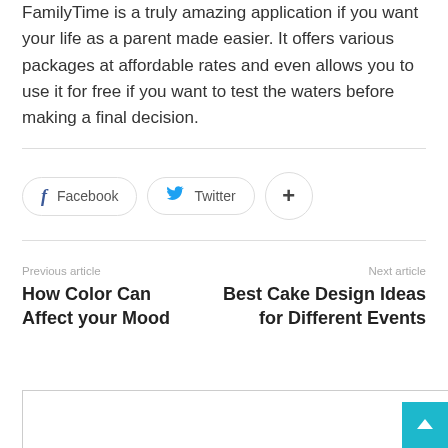FamilyTime is a truly amazing application if you want your life as a parent made easier. It offers various packages at affordable rates and even allows you to use it for free if you want to test the waters before making a final decision.
Facebook  Twitter  +
Previous article
How Color Can Affect your Mood
Next article
Best Cake Design Ideas for Different Events